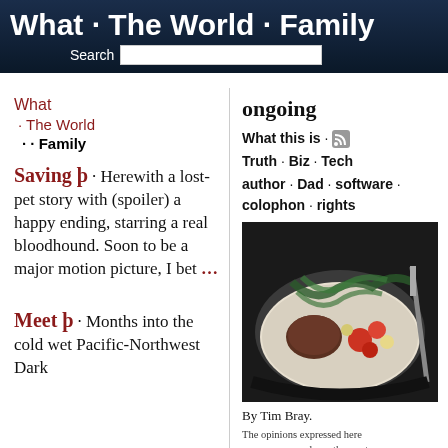What · The World · Family
Search
What
· The World
· · Family
Saving þ
Herewith a lost-pet story with (spoiler) a happy ending, starring a real bloodhound. Soon to be a major motion picture, I bet ...
Meet þ
Months into the cold wet Pacific-Northwest Dark
ongoing
What this is · 🔶
Truth · Biz · Tech
author · Dad · software · colophon · rights
[Figure (photo): Dark food photography showing a plate with meat, cherry tomatoes, and greens on a dark background]
By Tim Bray.
The opinions expressed here are my own, and no other party necessarily agrees with them